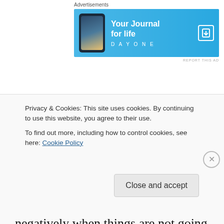[Figure (other): Advertisement banner for DayOne app — 'Your Journal for life' on blue background with phone image]
seem to be going our way or when things are just bad but we need to. The word is very
very clear when it comes to the words we speak.
If you want to enjoy good things then start speaking better. Don't allow yourself to speak
negatively when things are not going your way.
Privacy & Cookies: This site uses cookies. By continuing to use this website, you agree to their use.
To find out more, including how to control cookies, see here: Cookie Policy